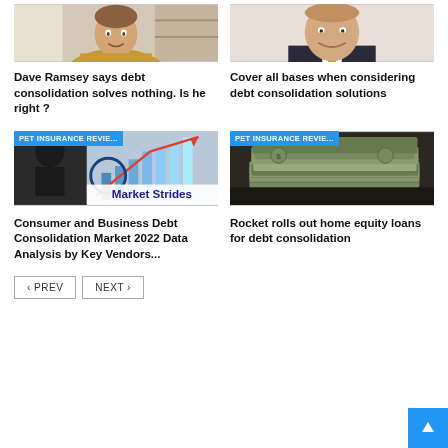[Figure (photo): Person in yellow sweater sitting at desk (Dave Ramsey article thumbnail), cropped at top]
[Figure (photo): Man in suit smiling (Cover all bases article thumbnail), cropped at top]
Dave Ramsey says debt consolidation solves nothing. Is he right ?
Cover all bases when considering debt consolidation solutions
[Figure (photo): Chart with rising red arrow and blue bars labeled Market Strides, with PET INSURANCE REVIE... badge]
[Figure (photo): Stack of US dollar bills, with PET INSURANCE REVIE... badge]
Consumer and Business Debt Consolidation Market 2022 Data Analysis by Key Vendors...
Rocket rolls out home equity loans for debt consolidation